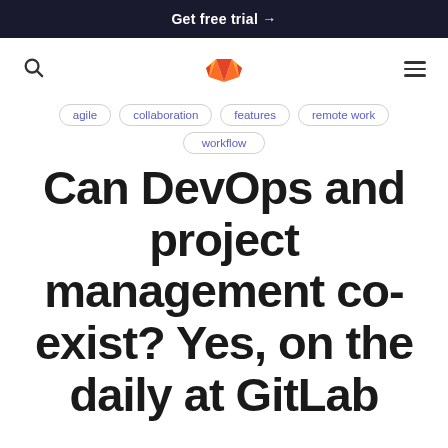Get free trial →
[Figure (logo): GitLab fox logo in orange and red]
agile   collaboration   features   remote work
workflow
Can DevOps and project management co-exist? Yes, on the daily at GitLab